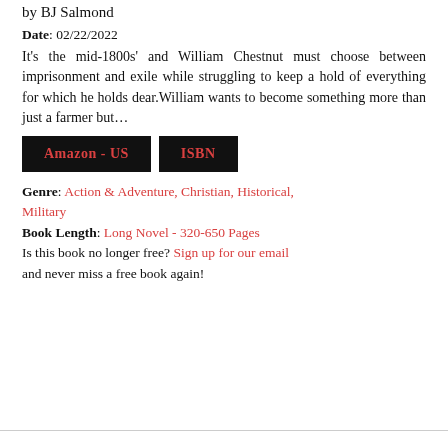by BJ Salmond
Date: 02/22/2022
It's the mid-1800s' and William Chestnut must choose between imprisonment and exile while struggling to keep a hold of everything for which he holds dear.William wants to become something more than just a farmer but…
[Figure (other): Two black buttons labeled 'Amazon - US' and 'ISBN' in red text on black backgrounds]
Genre: Action & Adventure, Christian, Historical, Military
Book Length: Long Novel - 320-650 Pages
Is this book no longer free? Sign up for our email and never miss a free book again!